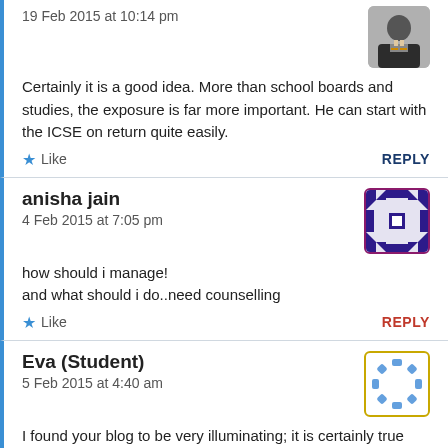19 Feb 2015 at 10:14 pm
Certainly it is a good idea. More than school boards and studies, the exposure is far more important. He can start with the ICSE on return quite easily.
★ Like
REPLY
anisha jain
4 Feb 2015 at 7:05 pm
how should i manage!
and what should i do..need counselling
★ Like
REPLY
Eva (Student)
5 Feb 2015 at 4:40 am
I found your blog to be very illuminating; it is certainly true